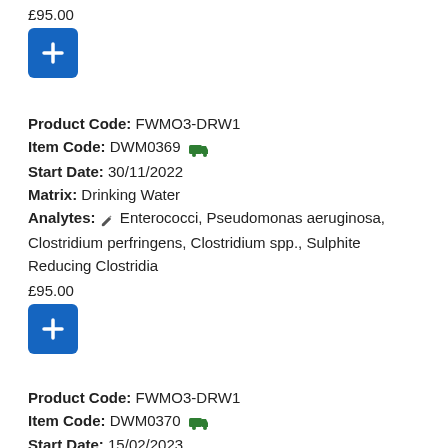£95.00
[Figure (other): Blue add/plus button]
Product Code: FWMO3-DRW1
Item Code: DWM0369 [truck icon]
Start Date: 30/11/2022
Matrix: Drinking Water
Analytes: [pencil icon] Enterococci, Pseudomonas aeruginosa, Clostridium perfringens, Clostridium spp., Sulphite Reducing Clostridia
£95.00
[Figure (other): Blue add/plus button]
Product Code: FWMO3-DRW1
Item Code: DWM0370 [truck icon]
Start Date: 15/02/2023
Matrix: Drinking Water
Analytes: [pencil icon] Enterococci, Pseudomonas aeruginosa, Clostridium perfringens, Clostridium spp., Sulphite Reducing Clostridia
£95.00
[Figure (other): Blue add/plus button (partially visible)]